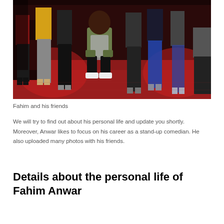[Figure (photo): Group of people standing and one crouching on a red-lit stage floor. The central person is crouching, wearing a green jacket and grey scarf with white sneakers. Others stand around him in various outfits including yellow top, black suit, jeans.]
Fahim and his friends
We will try to find out about his personal life and update you shortly. Moreover, Anwar likes to focus on his career as a stand-up comedian. He also uploaded many photos with his friends.
Details about the personal life of Fahim Anwar